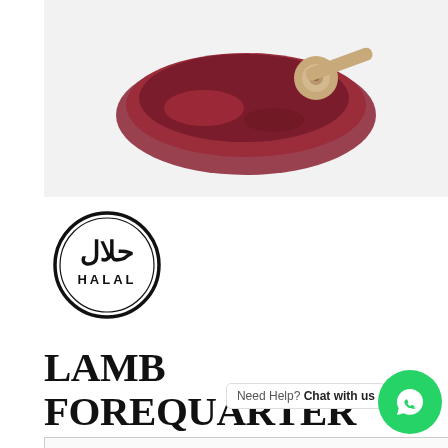[Figure (photo): Lamb forequarter shank meat product photo on white background]
[Figure (logo): Halal certification logo — circular black border with Arabic حلال text and HALAL text below]
LAMB FOREQUARTER SHANK
Need Help? Chat with us
pack of 400g Australian lamb forequarter shank organic from Roaring Forties named after the wild winds of Bass Straits whip even the lush pastures